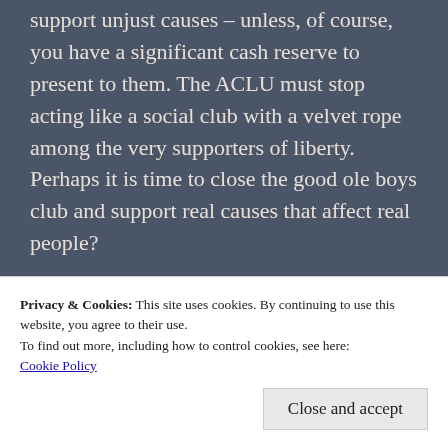support unjust causes – unless, of course, you have a significant cash reserve to present to them. The ACLU must stop acting like a social club with a velvet rope among the very supporters of liberty. Perhaps it is time to close the good ole boys club and support real causes that affect real people?
Eventually, the ACLU will become ensnared into the registry somehow. I certainly do not wish that upon anyone. However, for the lack
Privacy & Cookies: This site uses cookies. By continuing to use this website, you agree to their use.
To find out more, including how to control cookies, see here:
Cookie Policy
Close and accept